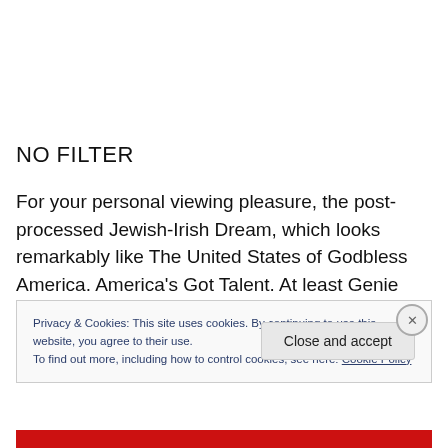NO FILTER
For your personal viewing pleasure, the post-processed Jewish-Irish Dream, which looks remarkably like The United States of Godbless America. America's Got Talent. At least Genie does.
Privacy & Cookies: This site uses cookies. By continuing to use this website, you agree to their use.
To find out more, including how to control cookies, see here: Cookie Policy
Close and accept